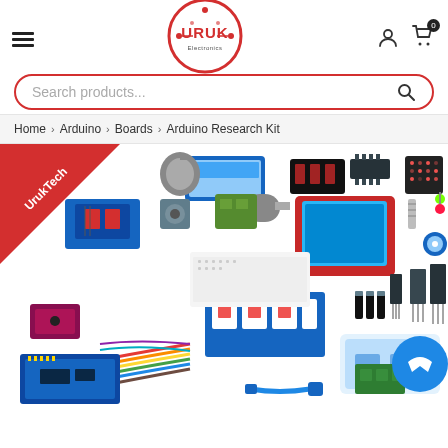[Figure (logo): URUK Electronics circular logo with red border and red URUK text]
Search products...
Home > Arduino > Boards > Arduino Research Kit
[Figure (photo): Arduino Research Kit product photo showing various electronic components: motors, LCD displays, relay modules, breadboard, jumper wires, sensors, transistors, capacitors, LEDs, and plastic storage box, with UrukTech red diagonal badge in top-left corner]